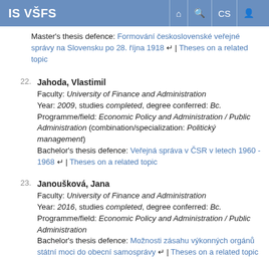IS VŠFS
Master's thesis defence: Formování československé veřejné správy na Slovensku po 28. října 1918 | Theses on a related topic
22. Jahoda, Vlastimil
Faculty: University of Finance and Administration
Year: 2009, studies completed, degree conferred: Bc.
Programme/field: Economic Policy and Administration / Public Administration (combination/specialization: Politický management)
Bachelor's thesis defence: Veřejná správa v ČSR v letech 1960 - 1968 | Theses on a related topic
23. Janoušková, Jana
Faculty: University of Finance and Administration
Year: 2016, studies completed, degree conferred: Bc.
Programme/field: Economic Policy and Administration / Public Administration
Bachelor's thesis defence: Možnosti zásahu výkonných orgánů státní moci do obecní samosprávy | Theses on a related topic
24. Jetenská, Věra